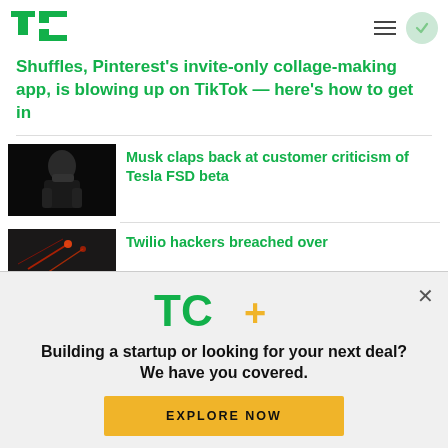[Figure (logo): TechCrunch TC green logo in top left]
Shuffles, Pinterest's invite-only collage-making app, is blowing up on TikTok — here's how to get in
[Figure (photo): Dark photo of Elon Musk thinking with hand on chin]
Musk claps back at customer criticism of Tesla FSD beta
[Figure (photo): Dark abstract tech image related to Twilio hackers article]
Twilio hackers breached over
[Figure (logo): TC+ logo — TechCrunch Plus in green and yellow]
Building a startup or looking for your next deal? We have you covered.
EXPLORE NOW